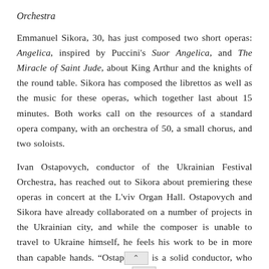Orchestra
Emmanuel Sikora, 30, has just composed two short operas: Angelica, inspired by Puccini's Suor Angelica, and The Miracle of Saint Jude, about King Arthur and the knights of the round table. Sikora has composed the librettos as well as the music for these operas, which together last about 15 minutes. Both works call on the resources of a standard opera company, with an orchestra of 50, a small chorus, and two soloists.
Ivan Ostapovych, conductor of the Ukrainian Festival Orchestra, has reached out to Sikora about premiering these operas in concert at the L'viv Organ Hall. Ostapovych and Sikora have already collaborated on a number of projects in the Ukrainian city, and while the composer is unable to travel to Ukraine himself, he feels his work to be in more than capable hands. “Ostap[ovych] is a solid conductor, who thinks in terms of lines rath[er th]an colors”, Sikora says. “His interpretations are always fluid